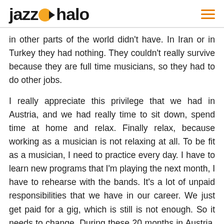jazzhalo
in other parts of the world didn't have. In Iran or in Turkey they had nothing. They couldn't really survive because they are full time musicians, so they had to do other jobs.
I really appreciate this privilege that we had in Austria, and we had really time to sit down, spend time at home and relax. Finally relax, because working as a musician is not relaxing at all. To be fit as a musician, I need to practice every day. I have to learn new programs that I'm playing the next month, I have to rehearse with the bands. It's a lot of unpaid responsibilities that we have in our career. We just get paid for a gig, which is still is not enough. So it needs to change. During these 20 months in Austria, a lot of people start to reflect and start to fight against the existing system. For example, the musicians in Austria started to make the prices for their career to put value and for our rehearsals, for concerts and the minimum rate that we need to get paid for each concert. It wasn't fair enough.